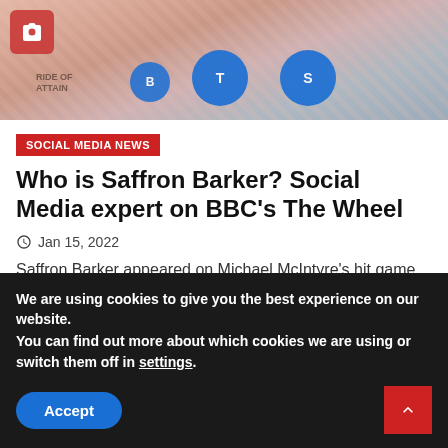[Figure (photo): Photo of Saffron Barker in a pink/beige scaly outfit at an event, with blue circular logos in the background. A camera icon is visible in the top-left corner.]
SOCIAL MEDIA NEWS
Who is Saffron Barker? Social Media expert on BBC's The Wheel
Jan 15, 2022
Saffron Barker appeared on Michael McIntyre's hit game show The Wheel on Saturday but viewers have been left asking who the social...
We are using cookies to give you the best experience on our website.
You can find out more about which cookies we are using or switch them off in settings.